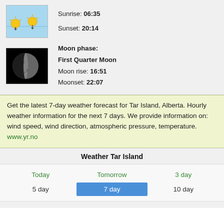[Figure (illustration): Sun rise/set icon: blue sky background with two sun icons, upward and downward arrows]
Sunrise: 06:35
Sunset: 20:14
[Figure (photo): First Quarter Moon photo on black background]
Moon phase: First Quarter Moon
Moon rise: 16:51
Moonset: 22:07
Get the latest 7-day weather forecast for Tar Island, Alberta. Hourly weather information for the next 7 days. We provide information on: wind speed, wind direction, atmospheric pressure, temperature.
www.yr.no
Weather Tar Island
Today
Tomorrow
3 day
5 day
7 day
10 day